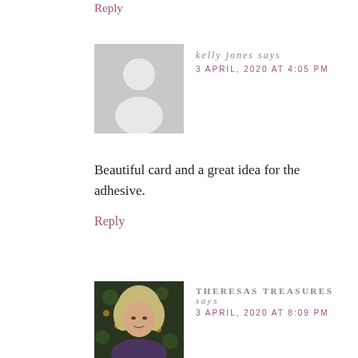Reply
kelly jones says
3 APRIL, 2020 AT 4:05 PM
[Figure (illustration): Default gray avatar placeholder with silhouette of a person]
Beautiful card and a great idea for the adhesive.
Reply
[Figure (photo): Photo of a woman with blonde/gray curly hair against a dark floral background]
THERESAS TREASURES says
3 APRIL, 2020 AT 8:09 PM